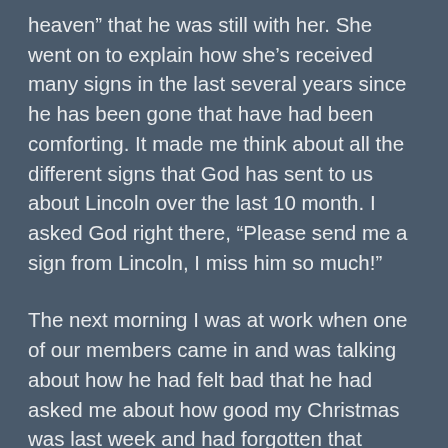heaven” that he was still with her. She went on to explain how she’s received many signs in the last several years since he has been gone that have had been comforting. It made me think about all the different signs that God has sent to us about Lincoln over the last 10 month. I asked God right there, “Please send me a sign from Lincoln, I miss him so much!”
The next morning I was at work when one of our members came in and was talking about how he had felt bad that he had asked me about how good my Christmas was last week and had forgotten that Lincoln had died. He went on to tell me that he had just came from mailing off a donation to Lincoln’s Hope using the brochure I had given him when he had last asked about why Lincoln had died. Not one hour later, another member came in with no other business to do, except to